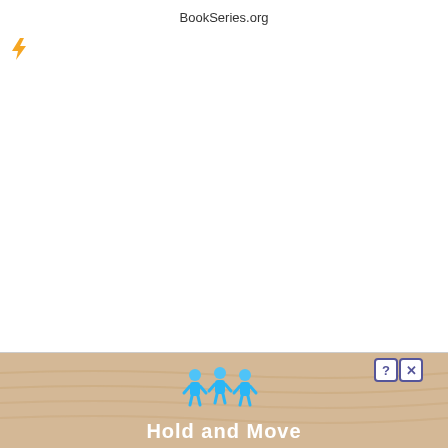BookSeries.org
[Figure (other): Orange lightning bolt icon]
[Figure (other): Advertisement banner showing blue cartoon figures and text 'Hold and Move' on a sandy/wood textured background with close buttons]